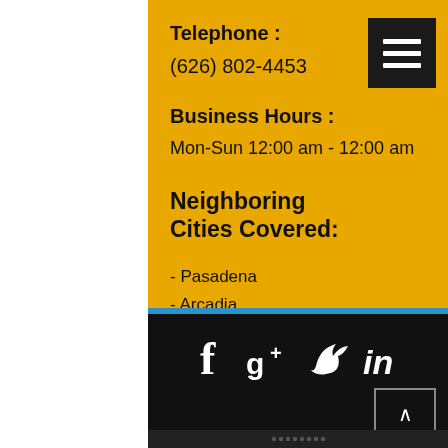Telephone : (626) 802-4453
Business Hours : Mon-Sun 12:00 am - 12:00 am
Neighboring Cities Covered:
- Pasadena
- Arcadia
- San Gabriel
- El Monte
- Duarte
- Monrovia
[Figure (infographic): Social media icons: Facebook (f), Google+ (g+), Twitter (bird), LinkedIn (in)]
© 2022 by Bail Bonds Temple City | Ca Insurance Lic # 1J09699 | Terms of Use | Privacy Policy.